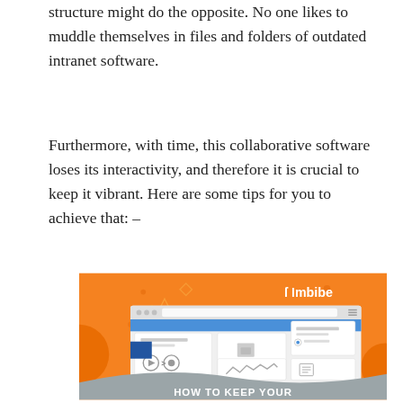structure might do the opposite. No one likes to muddle themselves in files and folders of outdated intranet software.
Furthermore, with time, this collaborative software loses its interactivity, and therefore it is crucial to keep it vibrant. Here are some tips for you to achieve that: –
[Figure (illustration): An infographic with orange background showing a web/intranet interface wireframe with browser window, cards, icons, and the Imbibe logo in the top right. At the bottom it says 'HOW TO KEEP YOUR' in white bold text on a grey wave.]